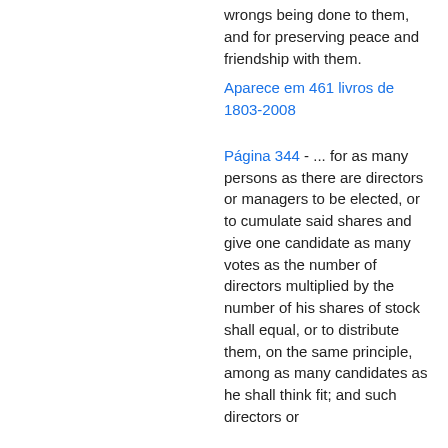wrongs being done to them, and for preserving peace and friendship with them.
Aparece em 461 livros de 1803-2008
Página 344 - ... for as many persons as there are directors or managers to be elected, or to cumulate said shares and give one candidate as many votes as the number of directors multiplied by the number of his shares of stock shall equal, or to distribute them, on the same principle, among as many candidates as he shall think fit; and such directors or